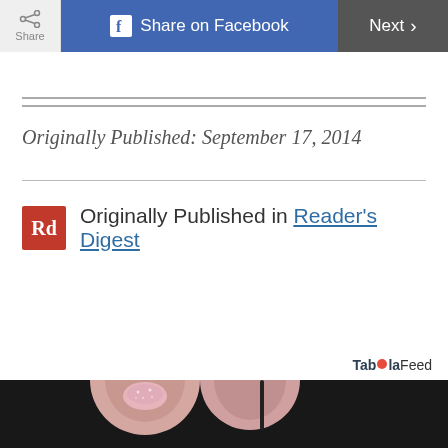Share | Share on Facebook | Next >
Originally Published: September 17, 2014
Originally Published in Reader's Digest
Taboola Feed
[Figure (photo): Close-up photo of fingertips with pink glittery nail polish on dark background]